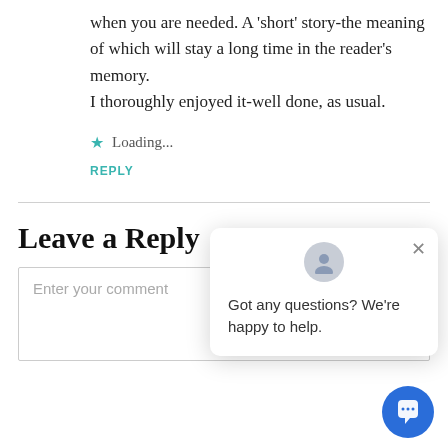when you are needed. A 'short' story-the meaning of which will stay a long time in the reader's memory.
I thoroughly enjoyed it-well done, as usual.
Loading...
REPLY
Leave a Reply
Enter your comment
[Figure (screenshot): Chat popup widget with avatar icon, close button (×), message 'Got any questions? We're happy to help.', and a blue circular chat button in the bottom-right corner.]